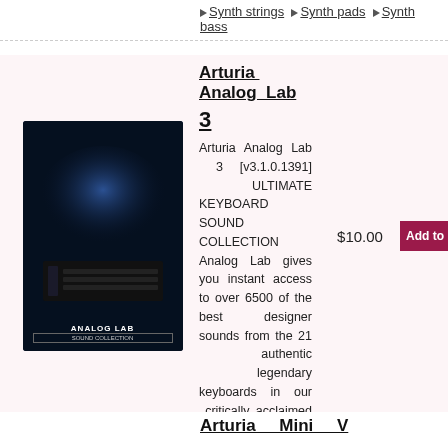Synth strings ♦ Synth pads ♦ Synth bass
Arturia Analog Lab
3
Arturia Analog Lab 3 [v3.1.0.1391] ULTIMATE KEYBOARD SOUND COLLECTION Analog Lab gives you instant access to over 6500 of the best designer sounds from the 21 authentic legendary keyboards in our critically acclaimed V Collection.
Tags: ♦ Club basses ♦ Club leads ♦ Hip-hop ♦ House music ♦ Synth strings ♦ Synth pads ♦ Trance ♦ Synth bass ♦ Vintage sound ♦ Techno
$10.00
Add to
Arturia Mini V